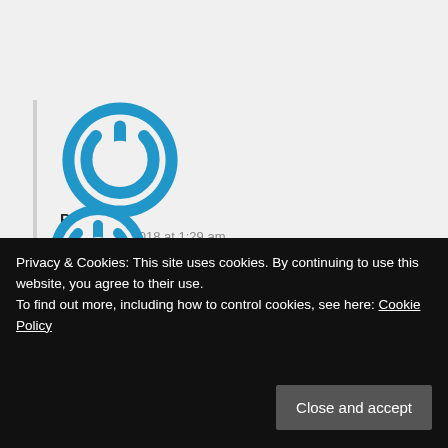[Figure (logo): Blue power button circular avatar icon for user 'Pa']
Pa says:
October 26, 2018 at 1:29 am
I have basically the same questions and also want to know if the quilt will still be pliable/ soft after all the fusible web and appliqué. I would love an answer to this please!!
Privacy & Cookies: This site uses cookies. By continuing to use this website, you agree to their use.
To find out more, including how to control cookies, see here: Cookie Policy
Close and accept
[Figure (logo): Partial blue avatar icon visible at bottom]